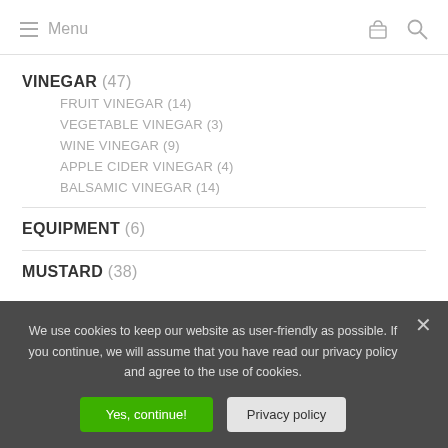Menu
VINEGAR (47)
FRUIT VINEGAR (14)
VEGETABLE VINEGAR (3)
WINE VINEGAR (9)
APPLE CIDER VINEGAR (4)
BALSAMIC VINEGAR (14)
EQUIPMENT (6)
MUSTARD (38)
We use cookies to keep our website as user-friendly as possible. If you continue, we will assume that you have read our privacy policy and agree to the use of cookies.
Yes, continue!
Privacy policy